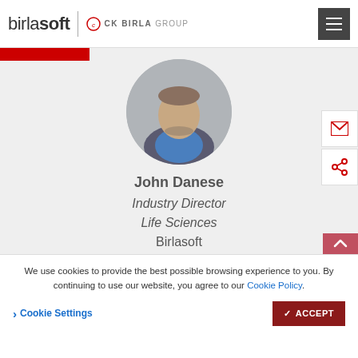birlasoft | CK BIRLA GROUP
[Figure (photo): Circular profile photo of John Danese, a man in a blue shirt and grey jacket]
John Danese
Industry Director
Life Sciences
Birlasoft
[Figure (logo): LinkedIn icon - blue rounded square with 'in' logo]
We use cookies to provide the best possible browsing experience to you. By continuing to use our website, you agree to our Cookie Policy.
> Cookie Settings
✓ ACCEPT